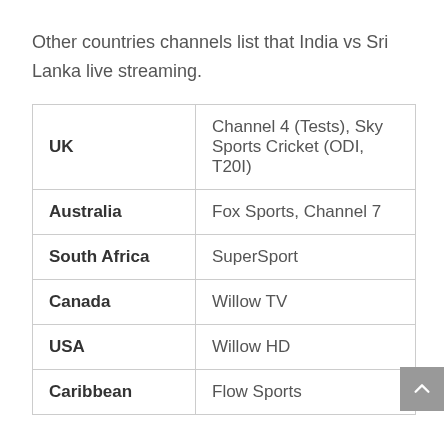Other countries channels list that India vs Sri Lanka live streaming.
| UK | Channel 4 (Tests), Sky Sports Cricket (ODI, T20I) |
| Australia | Fox Sports, Channel 7 |
| South Africa | SuperSport |
| Canada | Willow TV |
| USA | Willow HD |
| Caribbean | Flow Sports |